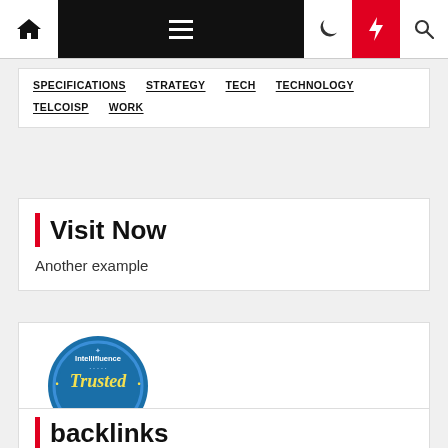Navigation bar with home, menu, moon, lightning, search icons
SPECIFICATIONS
STRATEGY
TECH
TECHNOLOGY
TELCOISP
WORK
Visit Now
Another example
[Figure (logo): Intellifluence Trusted Blogger badge - circular blue badge with gold ribbon banner]
backlinks